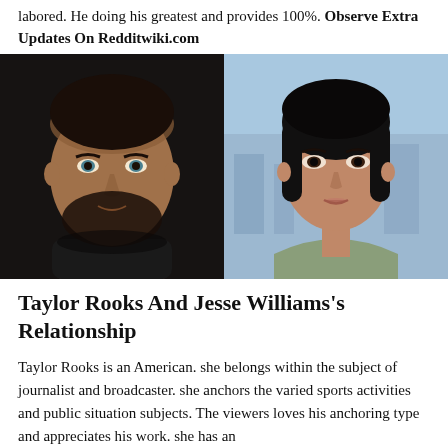labored. He doing his greatest and provides 100%. Observe Extra Updates On Redditwiki.com
[Figure (photo): Side-by-side photos: left shows a man (Jesse Williams) with a beard in dark clothing against a dark background; right shows a woman (Taylor Rooks) with a dark bob haircut wearing a sage green top against a blurred city background.]
Taylor Rooks And Jesse Williams's Relationship
Taylor Rooks is an American. she belongs within the subject of journalist and broadcaster. she anchors the varied sports activities and public situation subjects. The viewers loves his anchoring type and appreciates his work. she has an